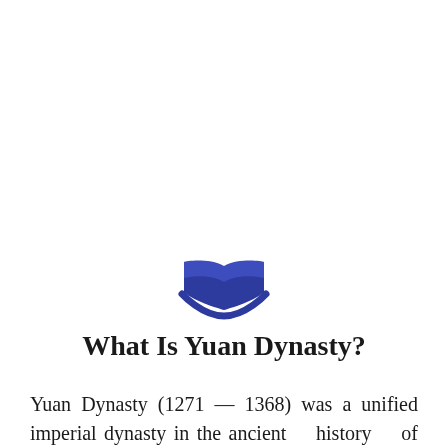[Figure (illustration): Open book icon in dark blue, resembling an Apple Books app icon style]
What Is Yuan Dynasty?
Yuan Dynasty (1271 — 1368) was a unified imperial dynasty in the ancient history of China established by minority Mongols